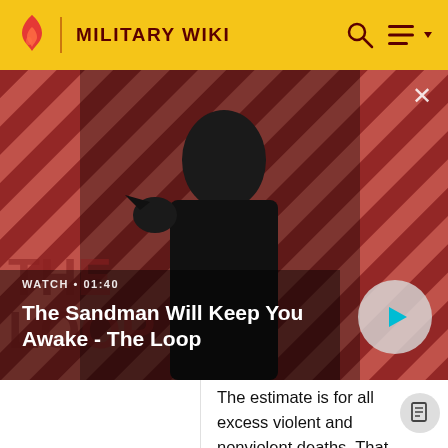MILITARY WIKI
[Figure (screenshot): Video thumbnail for 'The Sandman Will Keep You Awake - The Loop' showing a dark-clad figure with a crow on their shoulder against a red and black diagonal striped background. Duration shown as 01:40.]
The Sandman Will Keep You Awake - The Loop
The estimate is for all excess violent and nonviolent deaths. That also includes those due to increased lawlessness.